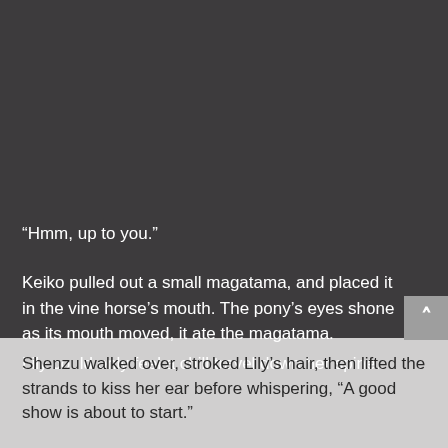“Hmm, up to you.”
Keiko pulled out a small magatama, and placed it in the vine horse’s mouth. The pony’s eyes shone as its mouth moved, it ate the magatama.
Lily could only feel a chill travel down her spine.
Shenzu walked over, stroked Lily’s hair, then lifted the strands to kiss her ear before whispering, “A good show is about to start.”